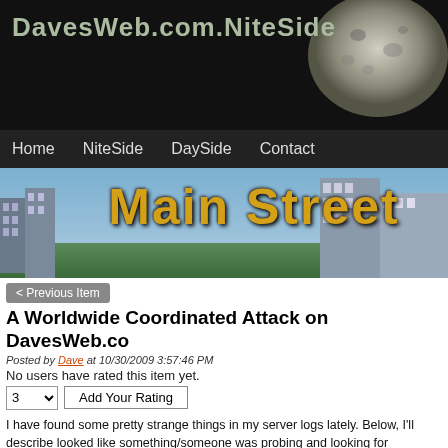DavesWeb.com.NiteSide
[Figure (illustration): Moon photograph in upper right of dark header]
Home | NiteSide | DaySide | Contact
[Figure (photo): Main Street banner with city skyline photo and yellow stylized text 'Main Street']
< Previous Item
A Worldwide Coordinated Attack on DavesWeb.co
Posted by Dave at 10/30/2009 3:57:46 PM
No users have rated this item yet.
3 v  Add Your Rating
I have found some pretty strange things in my server logs lately.  Below, I'll describe looked like something/someone was probing and looking for vulnerabilities on my si here worth stealing.  More likely, they were looking for a machine they could hijack f purpose.  I'm posting this in case someone knows what these folks are up to and ho against whatever it is.
First, a little background.  I have been paying closer attention to my web server logs After re-building the back-end of DavesWeb.com (and removing some older content particularly curious if there were still requests for some of these older items. If peop want to make sure that document is still online at the same Url. Currently, have have to their new location so surfers can follow old links and still find what they're looking